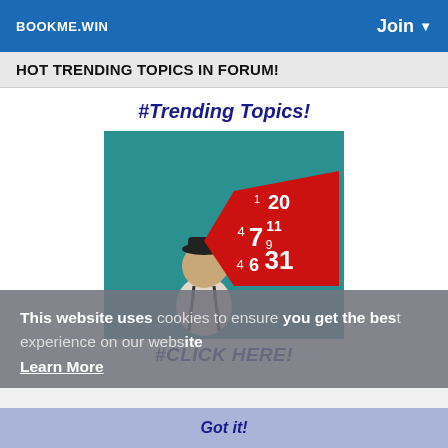BOOKME.WIN | Join
HOT TRENDING TOPICS IN FORUM!
#Trending Topics!
[Figure (illustration): Cartoon illustration of a person on a teal background looking at a red speech bubble containing numbers: 1, 4, 7, 9, 6, 11, 20, 31, 4]
#CLICK HERE!
This website uses cookies to ensure you get the best experience on our website Learn More
Got it!